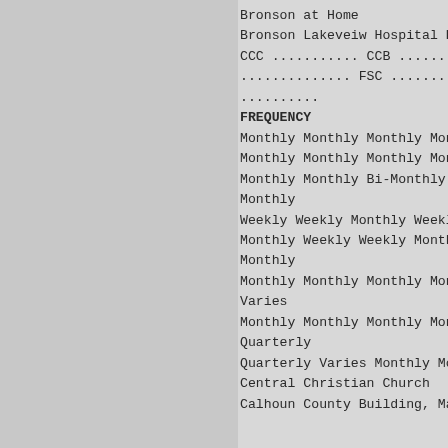Bronson at Home
Bronson Lakeveiw Hospital Brooklyn Presbyste
CCC ........... CCB ............ CCMCF .....
.............. FSC ............. GCJ ..........
..........
FREQUENCY
Monthly Monthly Monthly Monthly Monthly Mont
Monthly Monthly Monthly Monthly Monthly Bi-M
Monthly Monthly Bi-Monthly Monthly Monthly M
Monthly
Weekly Weekly Monthly Weekly Weekly Monthly
Monthly Weekly Weekly Monthly Monthly
Monthly
Monthly Monthly Monthly Monthly Monthly Mont
Varies
Monthly Monthly Monthly Monthly Monthly Mont
Quarterly
Quarterly Varies Monthly Monthly Monthly Mo
Central Christian Church
Calhoun County Building, Marshall Calhoun C